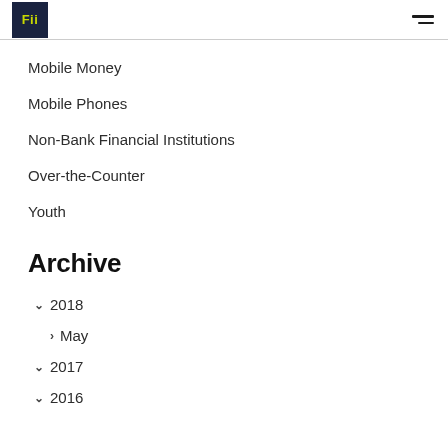Fii
Mobile Money
Mobile Phones
Non-Bank Financial Institutions
Over-the-Counter
Youth
Archive
2018
May
2017
2016